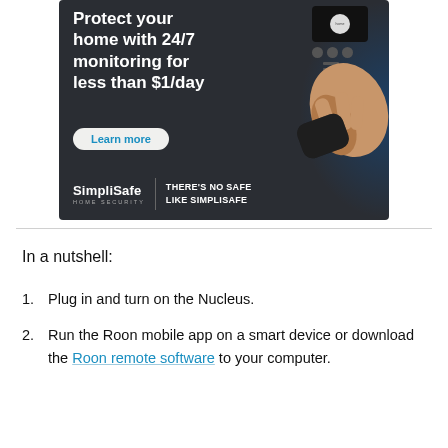[Figure (illustration): SimpliSafe home security advertisement showing 'Protect your home with 24/7 monitoring for less than $1/day' with a hand pressing a security keypad device, a Learn more button, and the SimpliSafe logo with tagline 'THERE'S NO SAFE LIKE SIMPLISAFE']
In a nutshell:
Plug in and turn on the Nucleus.
Run the Roon mobile app on a smart device or download the Roon remote software to your computer.